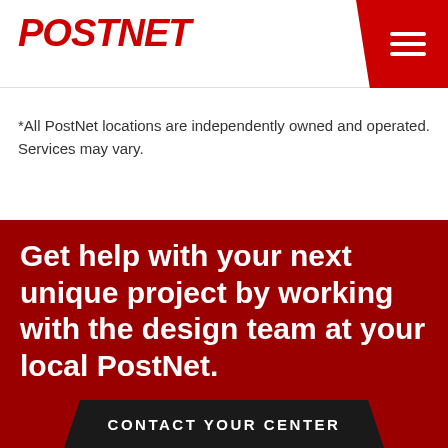[Figure (logo): PostNet logo in bold red italic uppercase text]
*All PostNet locations are independently owned and operated. Services may vary.
[Figure (photo): Red banner section with dark red background showing printing/design equipment]
Get help with your next unique project by working with the design team at your local PostNet.
CONTACT YOUR CENTER